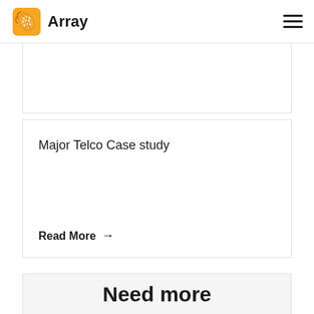Array
Major Telco Case study
Read More →
Need more